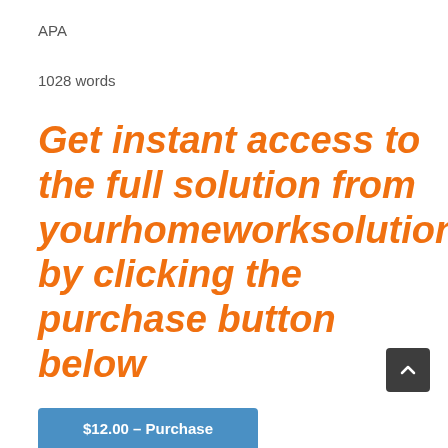APA
1028 words
Get instant access to the full solution from yourhomeworksolutions by clicking the purchase button below
$12.00 – Purchase